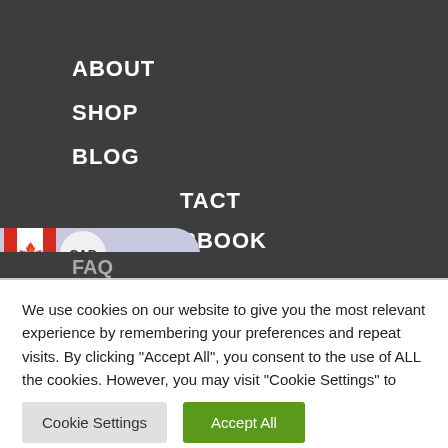ABOUT
SHOP
BLOG
CONTACT
LOGBOOK
WISHLIST
TRUEPOINTS
FAQ
We use cookies on our website to give you the most relevant experience by remembering your preferences and repeat visits. By clicking “Accept All”, you consent to the use of ALL the cookies. However, you may visit "Cookie Settings" to provide a controlled consent.